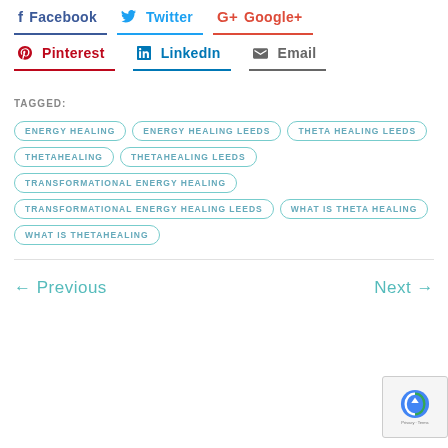Facebook  Twitter  Google+
Pinterest  LinkedIn  Email
TAGGED:  ENERGY HEALING  ENERGY HEALING LEEDS  THETA HEALING LEEDS  THETAHEALING  THETAHEALING LEEDS  TRANSFORMATIONAL ENERGY HEALING  TRANSFORMATIONAL ENERGY HEALING LEEDS  WHAT IS THETA HEALING  WHAT IS THETAHEALING
← Previous   Next →